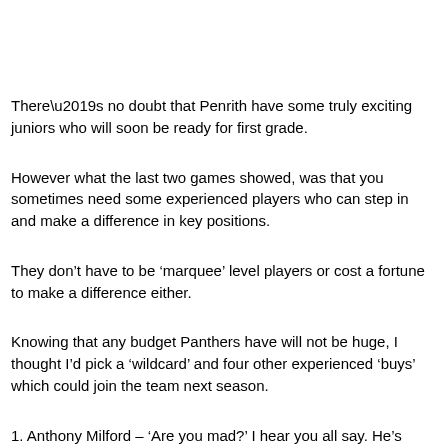There’s no doubt that Penrith have some truly exciting juniors who will soon be ready for first grade.
However what the last two games showed, was that you sometimes need some experienced players who can step in and make a difference in key positions.
They don’t have to be ‘marquee’ level players or cost a fortune to make a difference either.
Knowing that any budget Panthers have will not be huge, I thought I’d pick a ‘wildcard’ and four other experienced ‘buys’ which could join the team next season.
1. Anthony Milford – ‘Are you mad?’ I hear you all say. He’s terrible